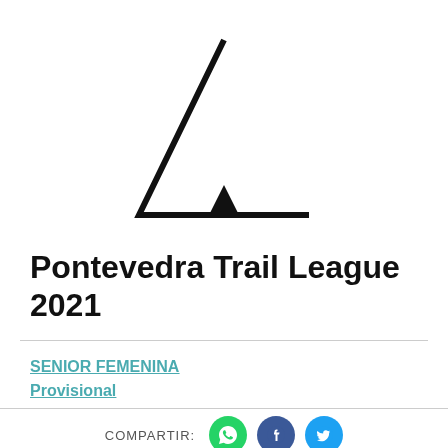[Figure (logo): Pontevedra Trail League logo: a large outlined triangle (mountain/peak shape) with a small solid triangle at the base center, forming a stylized mountain icon in black on white background.]
Pontevedra Trail League 2021
SENIOR FEMENINA
Provisional
COMPARTIR: